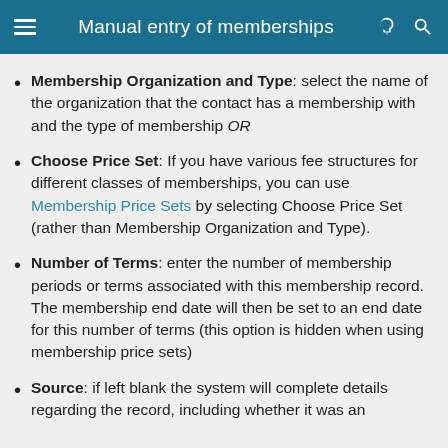Manual entry of memberships
Membership Organization and Type: select the name of the organization that the contact has a membership with and the type of membership OR
Choose Price Set: If you have various fee structures for different classes of memberships, you can use Membership Price Sets by selecting Choose Price Set (rather than Membership Organization and Type).
Number of Terms: enter the number of membership periods or terms associated with this membership record. The membership end date will then be set to an end date for this number of terms (this option is hidden when using membership price sets)
Source: if left blank the system will complete details regarding the record, including whether it was an